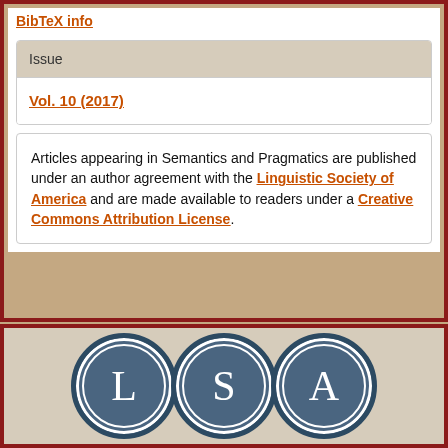BibTeX info
Issue
Vol. 10 (2017)
Articles appearing in Semantics and Pragmatics are published under an author agreement with the Linguistic Society of America and are made available to readers under a Creative Commons Attribution License.
[Figure (logo): LSA (Linguistic Society of America) logo — three overlapping dark blue circles each containing a white serif letter: L, S, A]